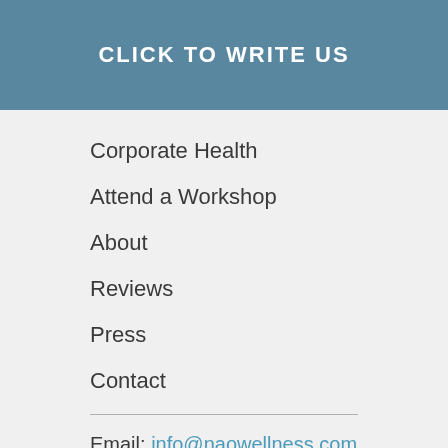CLICK TO WRITE US
Corporate Health
Attend a Workshop
About
Reviews
Press
Contact
Email: info@naowellness.com
[Figure (illustration): Scroll-to-top button (blue circle with upward chevron), Facebook icon, Instagram icon, and chat button (dark circle with chat icon)]